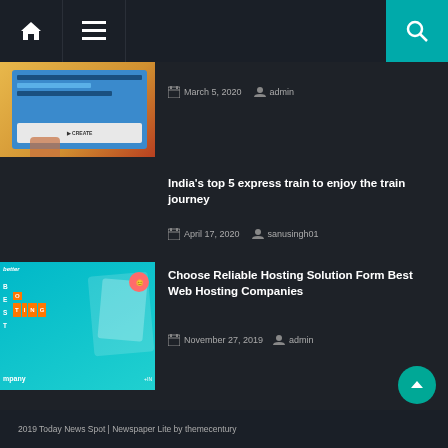Home | Menu | Search
[Figure (screenshot): Thumbnail image showing a hand holding a phone with a blue interface]
March 5, 2020  admin
India's top 5 express train to enjoy the train journey
April 17, 2020  sanusingh01
[Figure (screenshot): Best Web Hosting Companies thumbnail with teal background and letter blocks]
Choose Reliable Hosting Solution Form Best Web Hosting Companies
November 27, 2019  admin
2019 Today News Spot | Newspaper Lite by themecentury